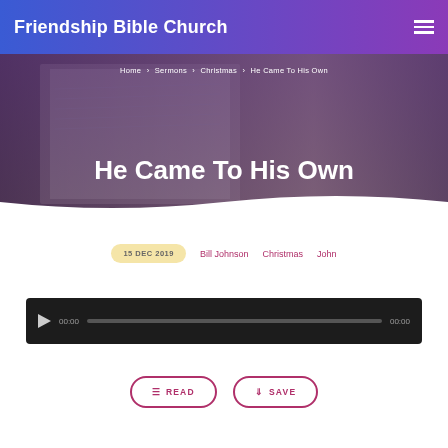Friendship Bible Church
Home › Sermons › Christmas › He Came To His Own
He Came To His Own
15 DEC 2019   Bill Johnson   Christmas   John
[Figure (other): Audio player with play button, time 00:00, progress bar, and end time 00:00]
READ   SAVE